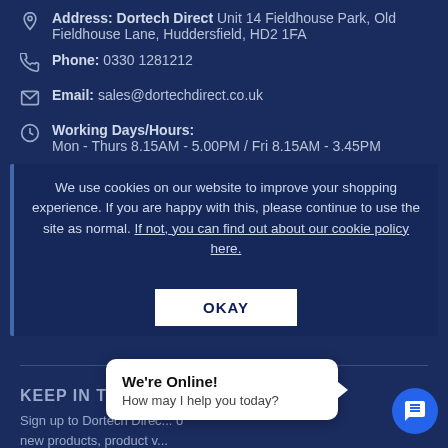Address: Dortech Direct Unit 14 Fieldhouse Park, Old Fieldhouse Lane, Huddersfield, HD2 1FA
Phone: 0330 1281212
Email: sales@dortechdirect.co.uk
Working Days/Hours: Mon - Thurs 8.15AM - 5.00PM / Fri 8.15AM - 3.45PM
We use cookies on our website to improve your shopping experience. If you are happy with this, please continue to use the site as normal. If not, you can find out about our cookie policy here.
OKAY
TrustScore 4.6 | 841 reviews
KEEP IN TOUCH
Sign up to Dortech Direct... new products, product v...
We're Online! How may I help you today?